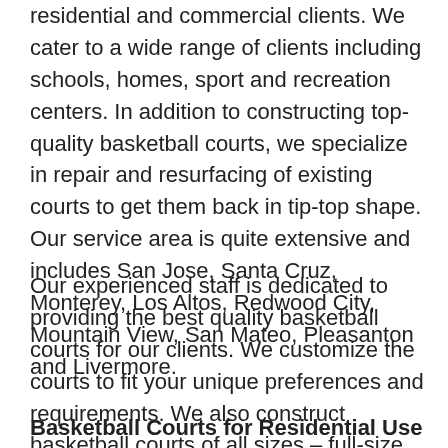residential and commercial clients. We cater to a wide range of clients including schools, homes, sport and recreation centers. In addition to constructing top-quality basketball courts, we specialize in repair and resurfacing of existing courts to get them back in tip-top shape. Our service area is quite extensive and includes San Jose, Santa Cruz, Monterey, Los Altos, Redwood City, Mountain View, San Mateo, Pleasanton and Livermore.
Our experienced staff is dedicated to providing the best quality basketball courts for our clients. We customize the courts to fit your unique preferences and requirements. We also construct basketball courts of all sizes – full-size regulation courts, half-courts and other configurations depending on the amount of space available.
Basketball Courts for Residential Use